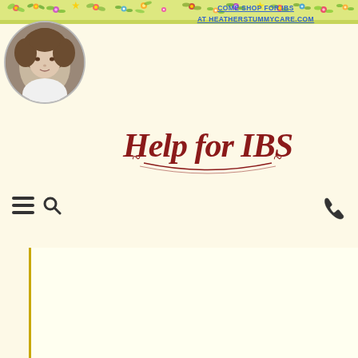[Figure (illustration): Floral decorative banner strip with colorful flower and leaf illustrations across top of page on yellow-green background]
COME SHOP FOR IBS
AT HEATHERSTUMMYCARE.COM
[Figure (photo): Portrait photo of a woman with curly brown hair in a circular frame]
Help for IBS
[Figure (photo): Photo of fennel tea in a glass teapot with fennel seeds and fronds, alongside a product package]
Organic High Volati
Extraord
Fennel is terrific for blo